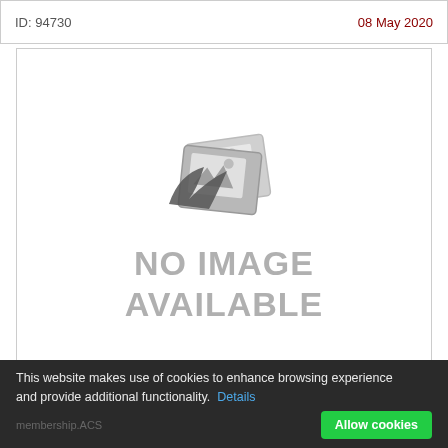ID: 94730    08 May 2020
[Figure (other): No image available placeholder with generic image icon and text reading 'NO IMAGE AVAILABLE' in large gray letters]
This website makes use of cookies to enhance browsing experience and provide additional functionality.  Details
Allow cookies